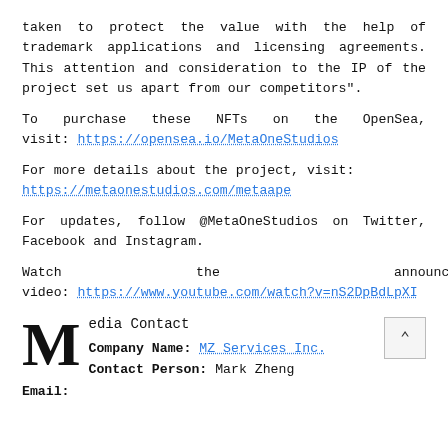taken to protect the value with the help of trademark applications and licensing agreements. This attention and consideration to the IP of the project set us apart from our competitors".
To purchase these NFTs on the OpenSea, visit: https://opensea.io/MetaOneStudios
For more details about the project, visit: https://metaonestudios.com/metaape
For updates, follow @MetaOneStudios on Twitter, Facebook and Instagram.
Watch the announcement video: https://www.youtube.com/watch?v=nS2DpBdLpXI
Media Contact Company Name: MZ Services Inc. Contact Person: Mark Zheng
Email: